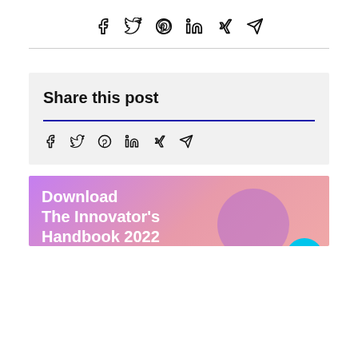[Figure (other): Social sharing icons row (Facebook, Twitter, Pinterest, LinkedIn, Xing, Telegram) at top of page]
Share this post
[Figure (other): Social sharing icons row (Facebook, Twitter, Pinterest, LinkedIn, Xing, Telegram) inside share box]
Download
The Innovator's
Handbook 2022